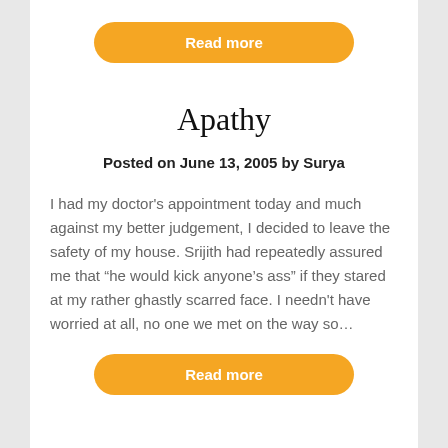[Figure (other): Orange rounded button labeled 'Read more']
Apathy
Posted on June 13, 2005 by Surya
I had my doctor's appointment today and much against my better judgement, I decided to leave the safety of my house. Srijith had repeatedly assured me that “he would kick anyone’s ass” if they stared at my rather ghastly scarred face. I needn't have worried at all, no one we met on the way so…
[Figure (other): Orange rounded button labeled 'Read more']